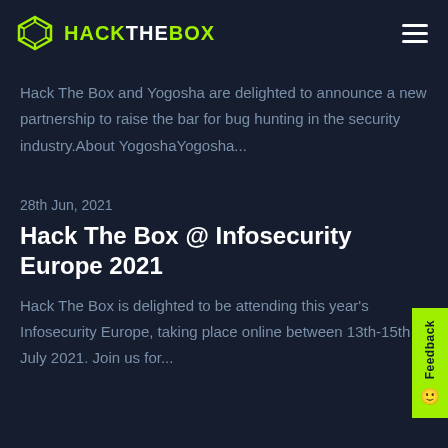HACKTHEBOX
Hack The Box and Yogosha are delighted to announce a new partnership to raise the bar for bug hunting in the security industry.About YogoshaYogosha...
28th Jun, 2021
Hack The Box @ Infosecurity Europe 2021
Hack The Box is delighted to be attending this year's Infosecurity Europe, taking place online between 13th-15th July 2021. Join us for...